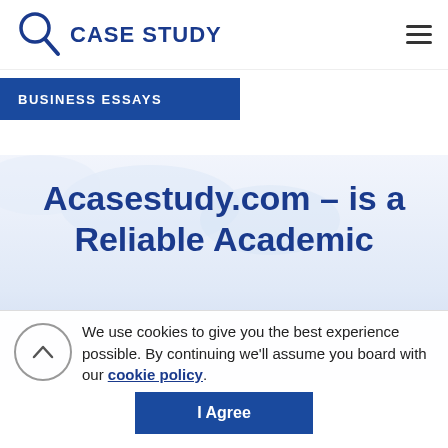CASE STUDY
BUSINESS ESSAYS
Acasestudy.com – is a Reliable Academic
We use cookies to give you the best experience possible. By continuing we'll assume you board with our cookie policy.
I Agree